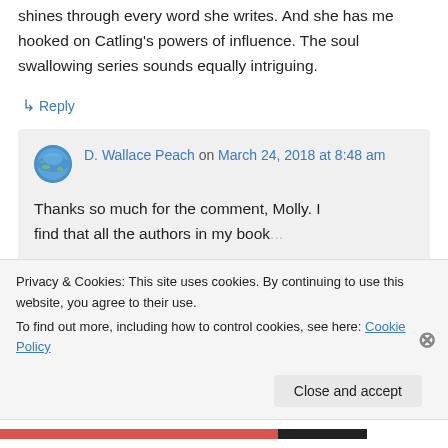shines through every word she writes. And she has me hooked on Catling's powers of influence. The soul swallowing series sounds equally intriguing.
↳ Reply
D. Wallace Peach on March 24, 2018 at 8:48 am
Thanks so much for the comment, Molly. I find that all the authors in my book...
Privacy & Cookies: This site uses cookies. By continuing to use this website, you agree to their use.
To find out more, including how to control cookies, see here: Cookie Policy
Close and accept